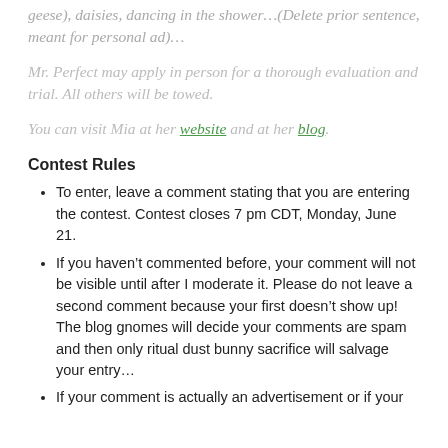geese), daisies, dancing in the shower…(Delete prior sentence, meant for personal ad)…
Mr. Perfect may apply in person for a thorough evaluation and trial. All others will be towed.
You can visit Mia at her website and at her blog.
Contest Rules
To enter, leave a comment stating that you are entering the contest. Contest closes 7 pm CDT, Monday, June 21.
If you haven't commented before, your comment will not be visible until after I moderate it. Please do not leave a second comment because your first doesn't show up! The blog gnomes will decide your comments are spam and then only ritual dust bunny sacrifice will salvage your entry…
If your comment is actually an advertisement or if your...